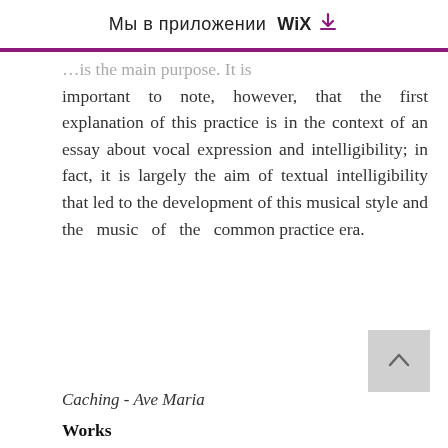Мы в приложении WiX ⬇
...is the main purpose. It is important to note, however, that the first explanation of this practice is in the context of an essay about vocal expression and intelligibility; in fact, it is largely the aim of textual intelligibility that led to the development of this musical style and the music of the common practice era.
Caching - Ave Maria
Works